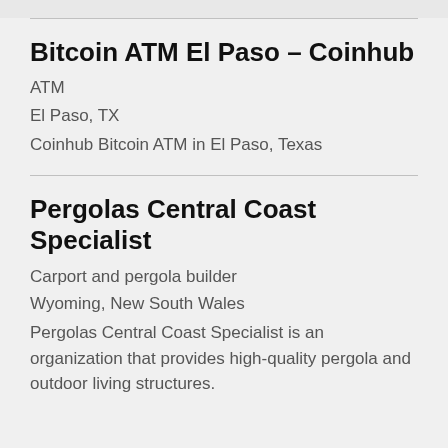Bitcoin ATM El Paso – Coinhub
ATM
El Paso, TX
Coinhub Bitcoin ATM in El Paso, Texas
Pergolas Central Coast Specialist
Carport and pergola builder
Wyoming, New South Wales
Pergolas Central Coast Specialist is an organization that provides high-quality pergola and outdoor living structures.